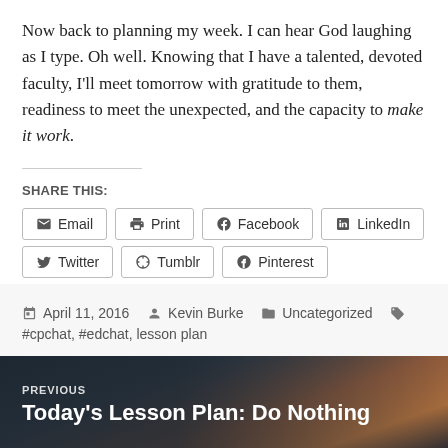Now back to planning my week. I can hear God laughing as I type. Oh well. Knowing that I have a talented, devoted faculty, I'll meet tomorrow with gratitude to them, readiness to meet the unexpected, and the capacity to make it work.
SHARE THIS:
Email | Print | Facebook | LinkedIn | Twitter | Tumblr | Pinterest
April 11, 2016  Kevin Burke  Uncategorized  #cpchat, #edchat, lesson plan
PREVIOUS
Today's Lesson Plan: Do Nothing